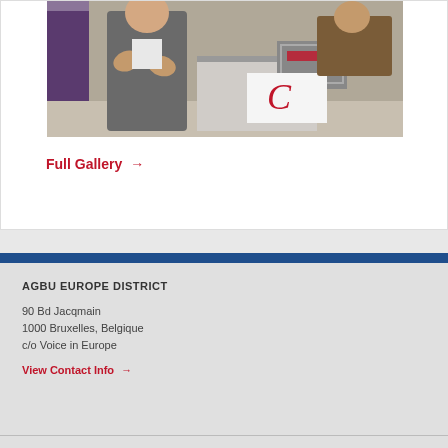[Figure (photo): Two men at a conference or exhibition booth. One man in a grey suit appears to be speaking and gesturing with his hands. Another man in a brown jacket is seated at a laptop on a table. A purple branded banner is visible in the background.]
Full Gallery →
AGBU EUROPE DISTRICT
90 Bd Jacqmain
1000 Bruxelles, Belgique
c/o Voice in Europe
View Contact Info →